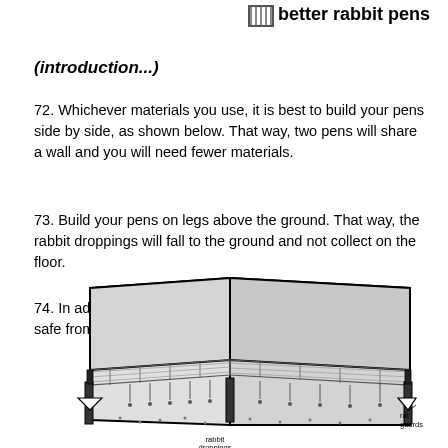better rabbit pens
(introduction...)
72. Whichever materials you use, it is best to build your pens side by side, as shown below. That way, two pens will share a wall and you will need fewer materials.
73. Build your pens on legs above the ground. That way, the rabbit droppings will fall to the ground and not collect on the floor.
74. In addition, a pen on legs will help to keep the rabbits safe from other animals.
[Figure (illustration): Technical illustration of two rabbit pens built side by side on legs above the ground. The pens share a common wall. Arrows show rabbit droppings falling to the ground below. Labels indicate 'rat guards' on the legs and 'rabbit droppings' falling beneath the mesh floor.]